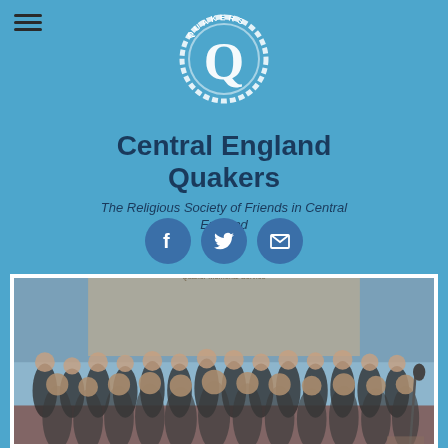[Figure (illustration): Hamburger menu icon (three horizontal bars) in top left corner]
[Figure (logo): Quakers logo: circular ring with letter Q and text QUAKERS curved along the top arc, white on blue background]
Central England Quakers
The Religious Society of Friends in Central England
[Figure (illustration): Three circular social media icon buttons: Facebook (f), Twitter (bird), and Email (envelope), arranged horizontally in a row]
[Figure (photo): Group photograph of approximately 25-30 people standing together in a hall or meeting room, with a projection screen behind them showing what appears to be a Quaker Memorial Service display. The group is diverse and standing in two rows.]